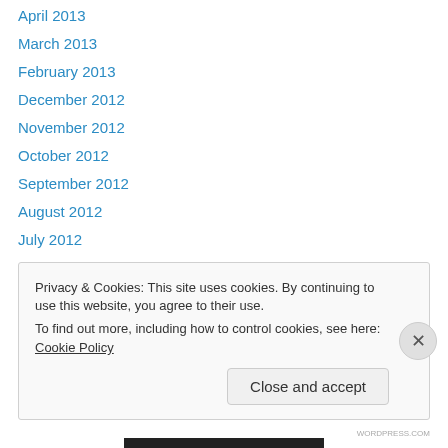April 2013
March 2013
February 2013
December 2012
November 2012
October 2012
September 2012
August 2012
July 2012
June 2012
May 2012
April 2012
Privacy & Cookies: This site uses cookies. By continuing to use this website, you agree to their use. To find out more, including how to control cookies, see here: Cookie Policy
Close and accept